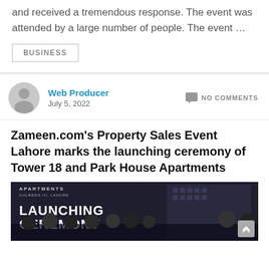and received a tremendous response. The event was attended by a large number of people. The event …
BUSINESS
Web Producer
July 5, 2022
NO COMMENTS
Zameen.com's Property Sales Event Lahore marks the launching ceremony of Tower 18 and Park House Apartments
[Figure (photo): Group photo at a LAUNCHING CEREMONY event for apartments in Gulberg III, Lahore, showing a large group of men in suits standing in front of a display backdrop.]